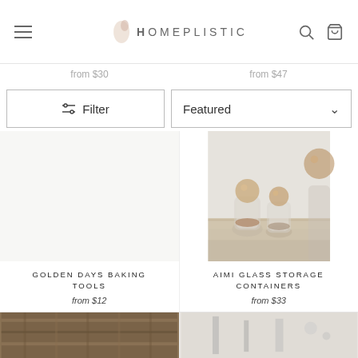HOMEPLISTIC — navigation header with hamburger menu, logo, search and cart icons
from $30 | from $47
Filter | Featured
GOLDEN DAYS BAKING TOOLS — from $12
[Figure (photo): Glass storage jars with wooden ball lids on a wooden surface, soft light background]
AIMI GLASS STORAGE CONTAINERS — from $33
[Figure (photo): Partial bottom row product images, left side appears to be woven texture, right side tools/accessories]